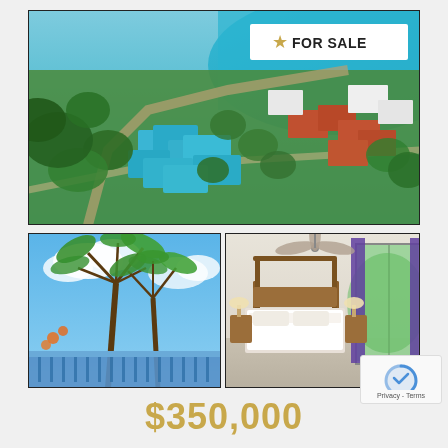[Figure (photo): Aerial view of tropical coastal town with blue-roofed buildings, turquoise sea in background, and lush green vegetation. FOR SALE badge overlaid in upper right.]
[Figure (photo): Ground-level view of property exterior with blue railing balcony and tall palm trees against blue sky with clouds.]
[Figure (photo): Interior bedroom with four-poster wooden bed, white bedding, purple curtains, ceiling fan, and sliding glass doors to balcony.]
$350,000